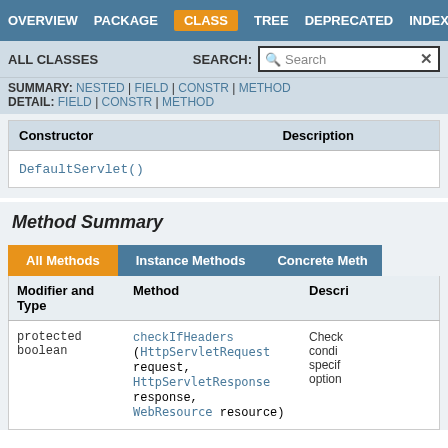OVERVIEW  PACKAGE  CLASS  TREE  DEPRECATED  INDEX
ALL CLASSES   SEARCH:  Search
SUMMARY: NESTED | FIELD | CONSTR | METHOD
DETAIL: FIELD | CONSTR | METHOD
| Constructor | Description |
| --- | --- |
| DefaultServlet() |  |
Method Summary
| Modifier and Type | Method | Description |
| --- | --- | --- |
| protected boolean | checkIfHeaders(HttpServletRequest request, HttpServletResponse response, WebResource resource) | Check condi specif option head... |